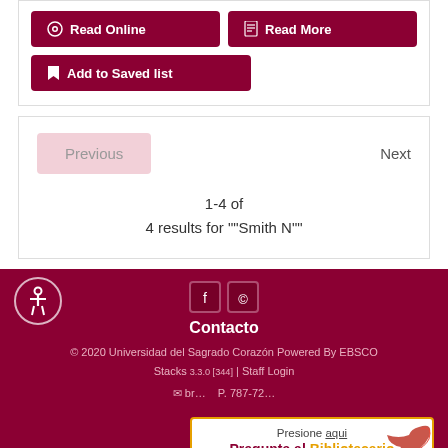[Figure (screenshot): Two buttons: 'Read Online' and 'Read More' in dark red, followed by 'Add to Saved list' button]
Previous
Next
1-4 of
4 results for ""Smith N""
Contacto
© 2020 Universidad del Sagrado Corazón Powered By EBSCO Stacks 3.3.0 [344] | Staff Login
br... P. 787-72...
Presione aqui
Pregunta al Bibliotecario